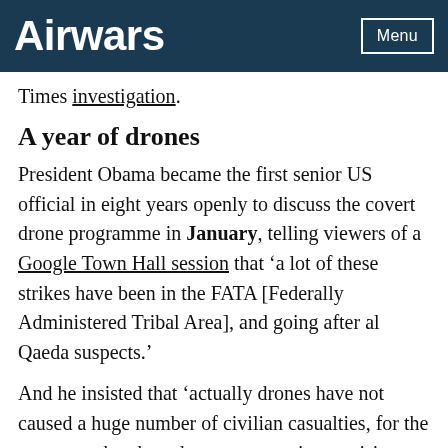Airwars | Menu
Times investigation.
A year of drones
President Obama became the first senior US official in eight years openly to discuss the covert drone programme in January, telling viewers of a Google Town Hall session that ‘a lot of these strikes have been in the FATA [Federally Administered Tribal Area], and going after al Qaeda suspects.’
And he insisted that ‘actually drones have not caused a huge number of civilian casualties, for the most part they have been very precise precision strikes against al Qaeda and their